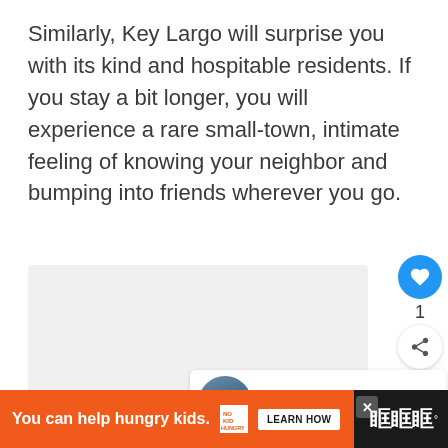Similarly, Key Largo will surprise you with its kind and hospitable residents. If you stay a bit longer, you will experience a rare small-town, intimate feeling of knowing your neighbor and bumping into friends wherever you go.
[Figure (photo): Image placeholder area (light gray rectangle) with an aerial coastal photo thumbnail shown in a 'What's Next' card at bottom right]
1
WHAT'S NEXT → Miami vs Key West - 2022...
You can help hungry kids.  NO KID HUNGRY  LEARN HOW